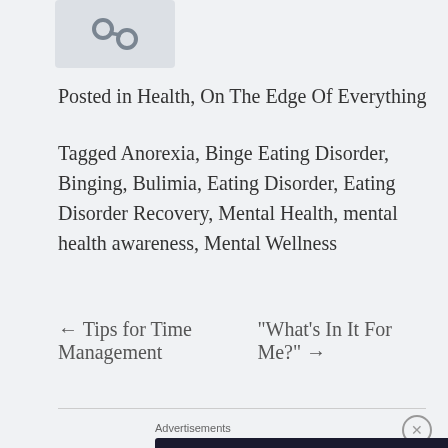[Figure (illustration): Link/share icon on a light gray background]
Posted in Health, On The Edge Of Everything
Tagged Anorexia, Binge Eating Disorder, Binging, Bulimia, Eating Disorder, Eating Disorder Recovery, Mental Health, mental health awareness, Mental Wellness
← Tips for Time Management     "What's In It For Me?" →
Advertisements
[Figure (screenshot): Advertisement banner: Launch your online course with WordPress — Learn More]